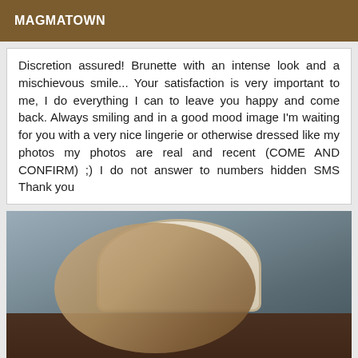MAGMATOWN
Discretion assured! Brunette with an intense look and a mischievous smile... Your satisfaction is very important to me, I do everything I can to leave you happy and come back. Always smiling and in a good mood image I'm waiting for you with a very nice lingerie or otherwise dressed like my photos my photos are real and recent (COME AND CONFIRM) ;) I do not answer to numbers hidden SMS Thank you
[Figure (photo): Photo of a brunette woman lying on a bed in lingerie, resting her chin on her hand, with high heels visible in the background]